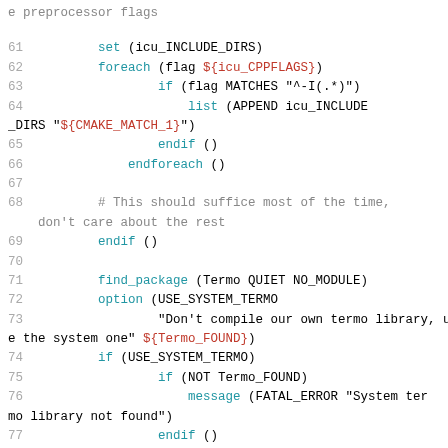e preprocessor flags
61    set (icu_INCLUDE_DIRS)
62    foreach (flag ${icu_CPPFLAGS})
63        if (flag MATCHES "^-I(.*)")
64            list (APPEND icu_INCLUDE_DIRS "${CMAKE_MATCH_1}")
65            endif ()
66        endforeach ()
67
68        # This should suffice most of the time, don't care about the rest
69    endif ()
70
71    find_package (Termo QUIET NO_MODULE)
72    option (USE_SYSTEM_TERMO
73            "Don't compile our own termo library, use the system one" ${Termo_FOUND})
74    if (USE_SYSTEM_TERMO)
75            if (NOT Termo_FOUND)
76                message (FATAL_ERROR "System termo library not found")
77            endif ()
78    else ()